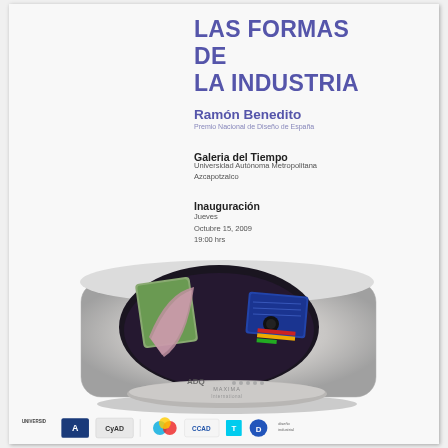LAS FORMAS
DE
LA INDUSTRIA
Ramón Benedito
Premio Nacional de Diseño de España
Galeria del Tiempo
Universidad Autónoma Metropolitana
Azcapotzalco
Inauguración
Jueves
Octubre 15, 2009
19:00 hrs
[Figure (photo): Industrial product - a sleek silver/grey egg-shaped device (scanner or analyzer) with an oval opening revealing internal components including a green panel and circuit board, sitting on a rounded base. The device shows 'ADQ' branding and 'MAXIMA International' text.]
[Figure (logo): Row of institution and sponsor logos at the bottom of the page including university logos and colorful ink/print brand marks]